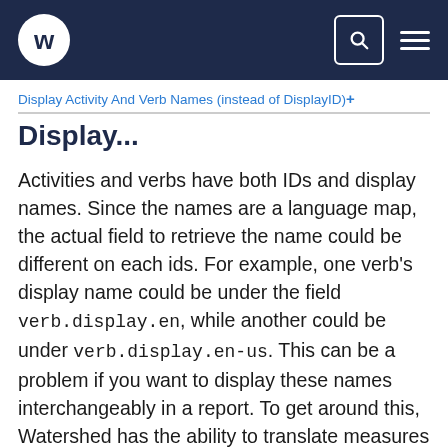w [logo] [search] [menu]
Display Activity And Verb Names (instead of DisplayID)+
Display...
Activities and verbs have both IDs and display names. Since the names are a language map, the actual field to retrieve the name could be different on each ids. For example, one verb's display name could be under the field verb.display.en, while another could be under verb.display.en-us. This can be a problem if you want to display these names interchangeably in a report. To get around this, Watershed has the ability to translate measures using activity, verb, person, or group IDs to their names, using the displayId field